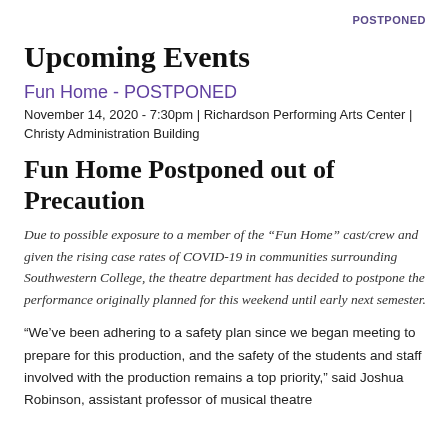POSTPONED
Upcoming Events
Fun Home - POSTPONED
November 14, 2020 - 7:30pm | Richardson Performing Arts Center | Christy Administration Building
Fun Home Postponed out of Precaution
Due to possible exposure to a member of the “Fun Home” cast/crew and given the rising case rates of COVID-19 in communities surrounding Southwestern College, the theatre department has decided to postpone the performance originally planned for this weekend until early next semester.
“We’ve been adhering to a safety plan since we began meeting to prepare for this production, and the safety of the students and staff involved with the production remains a top priority,” said Joshua Robinson, assistant professor of musical theatre